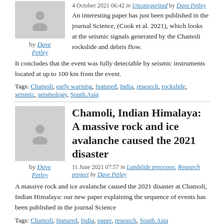4 October 2021 06:42 in Uncategorized by Dave Petley
An interesting paper has just been published in the journal Science, (Cook et al. 2021), which looks at the seismic signals generated by the Chamoli rockslide and debris flow. It concludes that the event was fully detectable by seismic instruments located at up to 100 km from the event.
Tags: Chamoli, early warning, featured, India, research, rockslide, seismic, seismology, South Asia
Chamoli, Indian Himalaya: A massive rock and ice avalanche caused the 2021 disaster
11 June 2021 07:57 in Landslide processes, Research project by Dave Petley
A massive rock and ice avalanche caused the 2021 disaster at Chamoli, Indian Himalaya: our new paper explaining the sequence of events has been published in the journal Science
Tags: Chamoli, featured, India, paper, research, South Asia